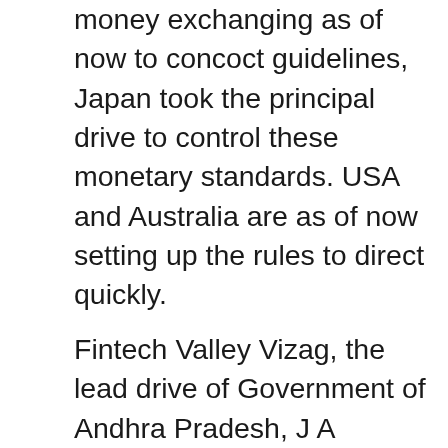money exchanging as of now to concoct guidelines, Japan took the principal drive to control these monetary standards. USA and Australia are as of now setting up the rules to direct quickly.
Fintech Valley Vizag, the lead drive of Government of Andhra Pradesh, J A Chowdary who is IT consultant to the CM are associated with making a firm establishment for the Indians to develop and embrace blockchain innovation. Plans are additionally being made to open schools to instruct blockchain to the youthful age. Along these lines, when this degree of techniques are being made and getting carried out, you can comprehend the nation is inviting blockchain and the activities in light of it. Certainly the